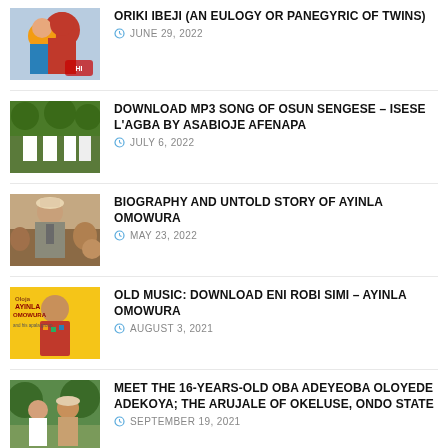[Figure (photo): Thumbnail image of two children, one wearing a red headwrap]
ORIKI IBEJI (AN EULOGY OR PANEGYRIC OF TWINS)
JUNE 29, 2022
[Figure (photo): Thumbnail image of people in white robes sitting]
DOWNLOAD MP3 SONG OF OSUN SENGESE – ISESE L'AGBA BY ASABIOJE AFENAPA
JULY 6, 2022
[Figure (photo): Thumbnail image of a man in traditional attire]
BIOGRAPHY AND UNTOLD STORY OF AYINLA OMOWURA
MAY 23, 2022
[Figure (photo): Thumbnail image of a yellow album cover with a man]
OLD MUSIC: DOWNLOAD ENI ROBI SIMI – AYINLA OMOWURA
AUGUST 3, 2021
[Figure (photo): Thumbnail image of two people standing outdoors]
MEET THE 16-YEARS-OLD OBA ADEYEOBA OLOYEDE ADEKOYA; THE ARUJALE OF OKELUSE, ONDO STATE
SEPTEMBER 19, 2021